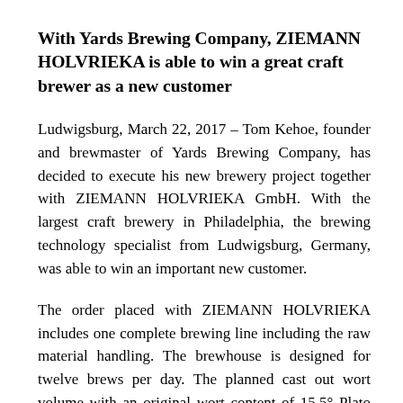With Yards Brewing Company, ZIEMANN HOLVRIEKA is able to win a great craft brewer as a new customer
Ludwigsburg, March 22, 2017 – Tom Kehoe, founder and brewmaster of Yards Brewing Company, has decided to execute his new brewery project together with ZIEMANN HOLVRIEKA GmbH. With the largest craft brewery in Philadelphia, the brewing technology specialist from Ludwigsburg, Germany, was able to win an important new customer.
The order placed with ZIEMANN HOLVRIEKA includes one complete brewing line including the raw material handling. The brewhouse is designed for twelve brews per day. The planned cast out wort volume with an original wort content of 15.5° Plato amounts to 120 hectoliters per brew. The brewhouse will be equipped